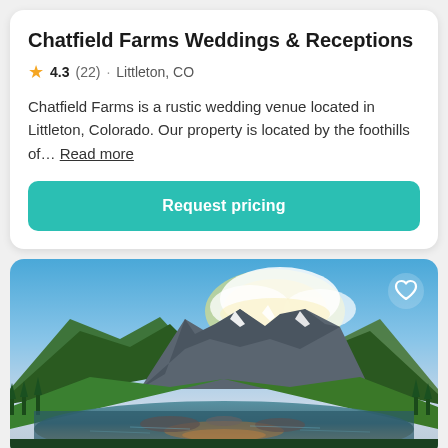Chatfield Farms Weddings & Receptions
4.3 (22) · Littleton, CO
Chatfield Farms is a rustic wedding venue located in Littleton, Colorado. Our property is located by the foothills of… Read more
Request pricing
[Figure (photo): Scenic mountain landscape at sunset with snow-capped peaks, green forested slopes, and a reflective lake in the foreground under a dramatic sky with glowing clouds]